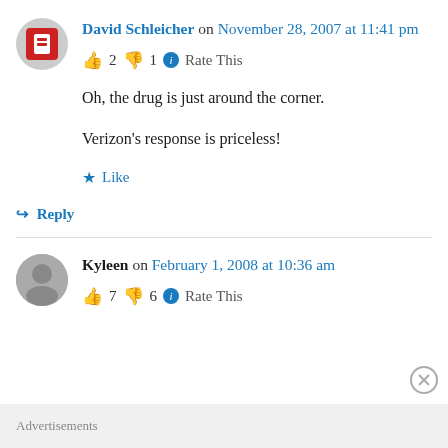David Schleicher on November 28, 2007 at 11:41 pm
👍 2 👎 1 ℹ Rate This
Oh, the drug is just around the corner.
Verizon's response is priceless!
★ Like
↪ Reply
Kyleen on February 1, 2008 at 10:36 am
👍 7 👎 6 ℹ Rate This
Advertisements